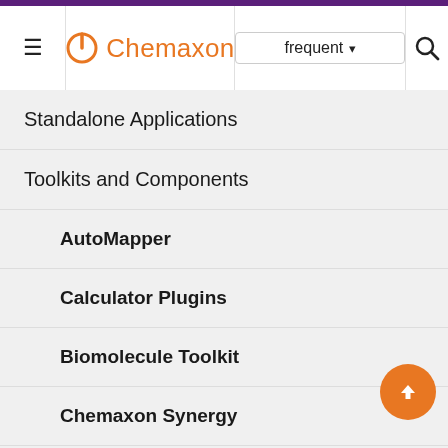Chemaxon | frequent ▾ | 🔍
Standalone Applications ▷
Toolkits and Components ◀
AutoMapper ▷
Calculator Plugins ▷
Biomolecule Toolkit ▷
Chemaxon Synergy ▷
Document to Structure ▷
JChem Base ◀
JChem Base Administration ▷